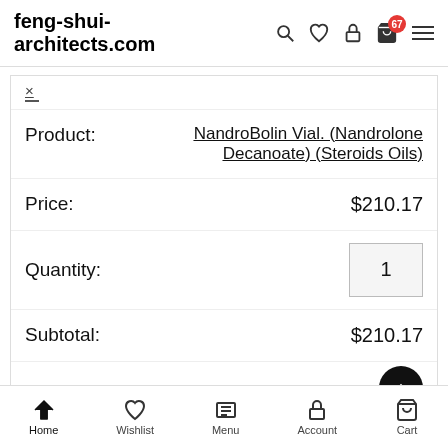feng-shui-architects.com
| Field | Value |
| --- | --- |
| × |  |
| Product: | NandroBolin Vial. (Nandrolone Decanoate) (Steroids Oils) |
| Price: | $210.17 |
| Quantity: | 1 |
| Subtotal: | $210.17 |
| × |  |
Home  Wishlist  Menu  Account  Cart